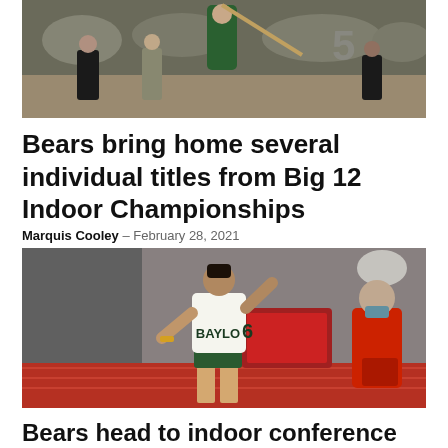[Figure (photo): Indoor track athlete in green uniform holding a pole, with number 5 visible in background, at an indoor track and field event]
Bears bring home several individual titles from Big 12 Indoor Championships
Marquis Cooley - February 28, 2021
[Figure (photo): Baylor runner wearing white BAYLOR jersey number 6 competing in an indoor track race, with a Texas Tech runner in red on the right side]
Bears head to indoor conference championships determined for point...